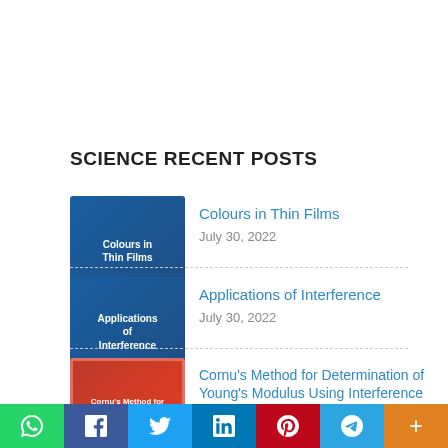SCIENCE RECENT POSTS
[Figure (illustration): Thumbnail for 'Colours in Thin Films' post — dark blue background with text 'Colours in Thin Films']
Colours in Thin Films
July 30, 2022
[Figure (illustration): Thumbnail for 'Applications of Interference' post — dark blue background with text 'Applications of Interference']
Applications of Interference
July 30, 2022
[Figure (illustration): Thumbnail for 'Cornu's Method for Determination of Young's Modulus Using Interference Phenomenon' post — red background with white text]
Cornu's Method for Determination of Young's Modulus Using Interference Phenomenon